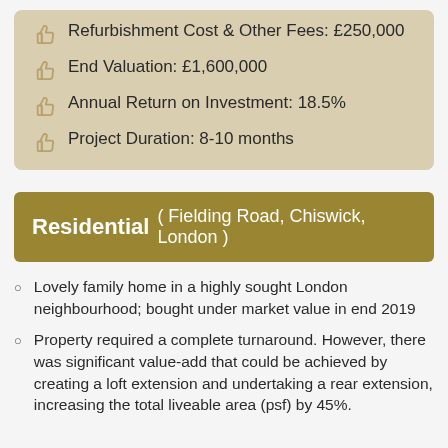Refurbishment Cost & Other Fees: £250,000
End Valuation: £1,600,000
Annual Return on Investment: 18.5%
Project Duration: 8-10 months
Residential ( Fielding Road, Chiswick, London )
Lovely family home in a highly sought London neighbourhood; bought under market value in end 2019
Property required a complete turnaround. However, there was significant value-add that could be achieved by creating a loft extension and undertaking a rear extension, increasing the total liveable area (psf) by 45%.